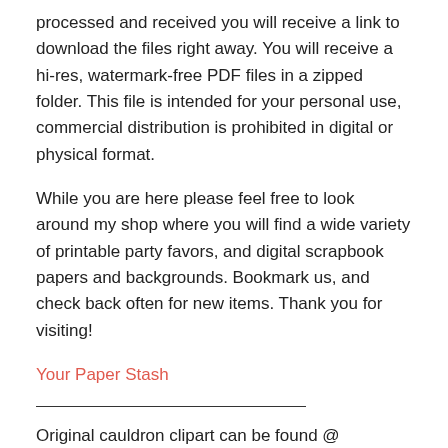processed and received you will receive a link to download the files right away. You will receive a hi-res, watermark-free PDF files in a zipped folder. This file is intended for your personal use, commercial distribution is prohibited in digital or physical format.
While you are here please feel free to look around my shop where you will find a wide variety of printable party favors, and digital scrapbook papers and backgrounds. Bookmark us, and check back often for new items. Thank you for visiting!
Your Paper Stash
Original cauldron clipart can be found @ CreatingForCreative.etsy.com